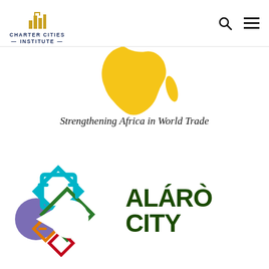CHARTER CITIES INSTITUTE
[Figure (illustration): Yellow silhouette map of Africa continent, partial view cropped at top]
Strengthening Africa in World Trade
[Figure (logo): Alaro City logo: geometric diamond shapes in teal, green, orange, red with purple circle, alongside text ALARO CITY in dark green]